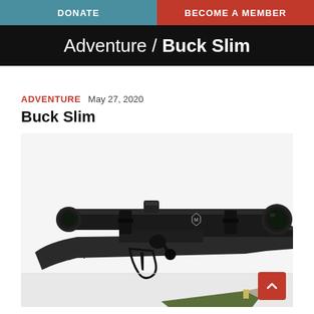DONATE | BECOME A MEMBER
Adventure / Buck Slim
ADVENTURE May 27, 2020
Buck Slim
[Figure (photo): A bolt-action rifle with a rifle scope mounted on top and a folding knife with a green handle lying partially visible at the bottom right, photographed on a white background.]